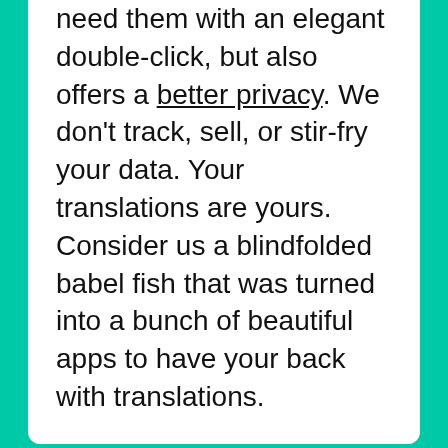need them with an elegant double-click, but also offers a better privacy. We don't track, sell, or stir-fry your data. Your translations are yours. Consider us a blindfolded babel fish that was turned into a bunch of beautiful apps to have your back with translations.
TRANSLATE TO OTHER LANGUAGES
Frustare to Afrikaans
Frustare to Albanian
Frustare to Amharic